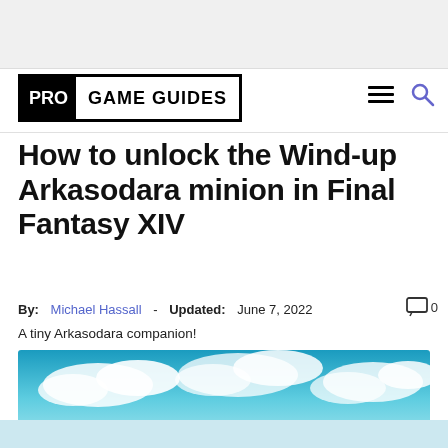[Figure (logo): Pro Game Guides logo — black box with PRO in white on black background and GAME GUIDES in black on white]
How to unlock the Wind-up Arkasodara minion in Final Fantasy XIV
By: Michael Hassall - Updated: June 7, 2022  0
A tiny Arkasodara companion!
[Figure (photo): Sky with clouds, teal/cyan tones — Final Fantasy XIV screenshot]